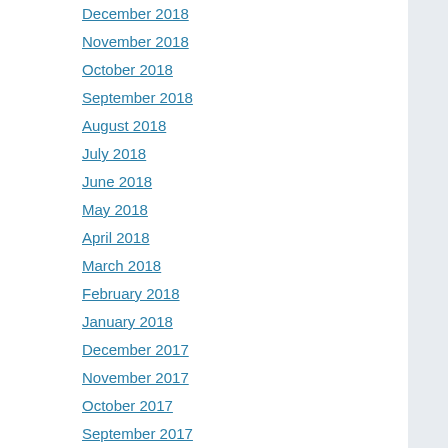December 2018
November 2018
October 2018
September 2018
August 2018
July 2018
June 2018
May 2018
April 2018
March 2018
February 2018
January 2018
December 2017
November 2017
October 2017
September 2017